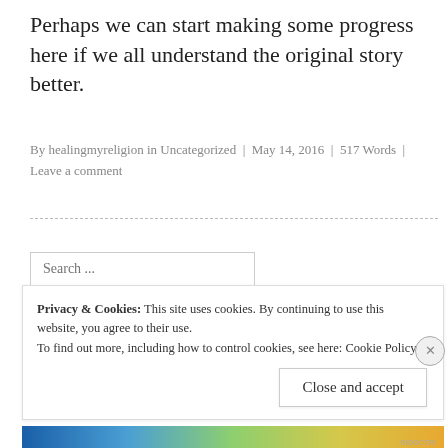Perhaps we can start making some progress here if we all understand the original story better.
By healingmyreligion in Uncategorized | May 14, 2016 | 517 Words | Leave a comment
Search ...
Privacy & Cookies: This site uses cookies. By continuing to use this website, you agree to their use.
To find out more, including how to control cookies, see here: Cookie Policy
Close and accept